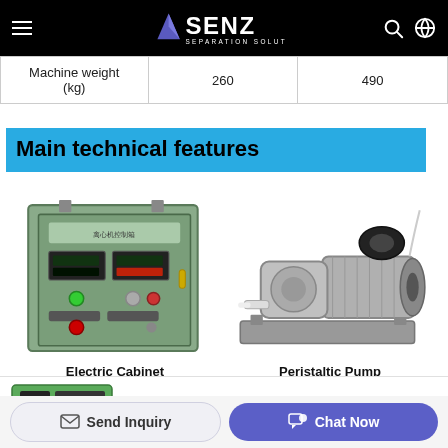SENZ SEPARATION SOLUTIONS
| Machine weight (kg) | 260 | 490 |
| --- | --- | --- |
Main technical features
[Figure (photo): Electric control cabinet with green and red indicator buttons and digital displays]
Electric Cabinet
[Figure (photo): Peristaltic pump with motor mounted on base plate]
Peristaltic Pump